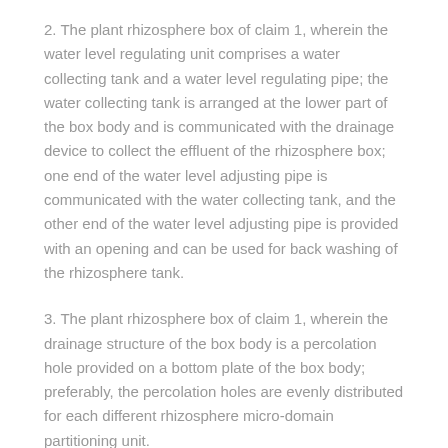2. The plant rhizosphere box of claim 1, wherein the water level regulating unit comprises a water collecting tank and a water level regulating pipe; the water collecting tank is arranged at the lower part of the box body and is communicated with the drainage device to collect the effluent of the rhizosphere box; one end of the water level adjusting pipe is communicated with the water collecting tank, and the other end of the water level adjusting pipe is provided with an opening and can be used for back washing of the rhizosphere tank.
3. The plant rhizosphere box of claim 1, wherein the drainage structure of the box body is a percolation hole provided on a bottom plate of the box body; preferably, the percolation holes are evenly distributed for each different rhizosphere micro-domain partitioning unit.
4. The plant rhizosphere box of claim 1, wherein fixing structures are arranged on the inner walls of two opposite sides of the box body, and the rhizosphere clapboard inserting pieces are fixed in the box body through the fixing structures; preferably, the fixing structure is a groove formed in the inner wall of the box body, and the two sides